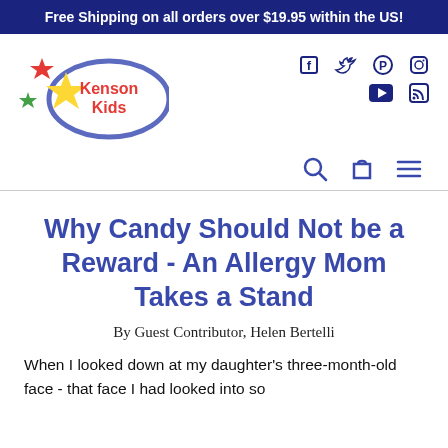Free Shipping on all orders over $19.95 within the US!
[Figure (logo): Kenson Kids logo: colorful stars (red, green, yellow) with a blue oval containing the text 'Kenson Kids' in red]
[Figure (infographic): Social media icons: Facebook, Twitter, Pinterest, Instagram (top row), YouTube, RSS (bottom row) in dark navy blue]
[Figure (infographic): Navigation icons: search (magnifying glass), cart (bag), menu (hamburger) in dark blue]
Why Candy Should Not be a Reward - An Allergy Mom Takes a Stand
By Guest Contributor, Helen Bertelli
When I looked down at my daughter's three-month-old face - that face I had looked into so